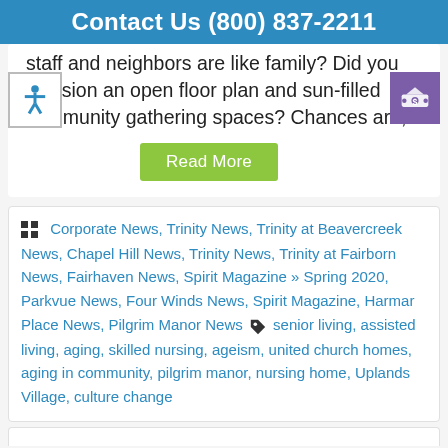Contact Us (800) 837-2211
staff and neighbors are like family? Did you envision an open floor plan and sun-filled community gathering spaces? Chances are,...
Read More
Corporate News, Trinity News, Trinity at Beavercreek News, Chapel Hill News, Trinity News, Trinity at Fairborn News, Fairhaven News, Spirit Magazine » Spring 2020, Parkvue News, Four Winds News, Spirit Magazine, Harmar Place News, Pilgrim Manor News  senior living, assisted living, aging, skilled nursing, ageism, united church homes, aging in community, pilgrim manor, nursing home, Uplands Village, culture change